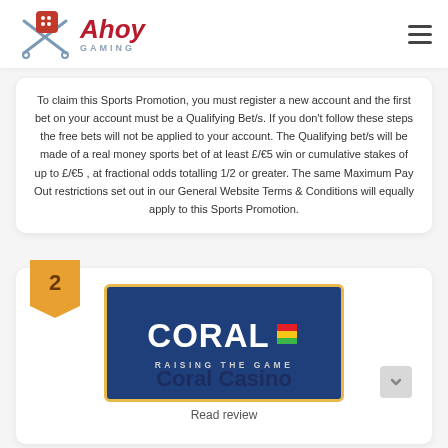[Figure (logo): Ahoy Gaming logo with dice and crossed anchors icon, red italic text 'Ahoy' and grey 'GAMING' subtitle]
To claim this Sports Promotion, you must register a new account and the first bet on your account must be a Qualifying Bet/s. If you don't follow these steps the free bets will not be applied to your account. The Qualifying bet/s will be made of a real money sports bet of at least £/€5 win or cumulative stakes of up to £/€5 , at fractional odds totalling 1/2 or greater. The same Maximum Pay Out restrictions set out in our General Website Terms & Conditions will equally apply to this Sports Promotion.
[Figure (logo): Coral Casino logo - dark blue background with 'CORAL' in large white bold text and colorful flag icon, tagline 'RAISING THE GAME' in white letters, surrounded by gold/yellow border]
Coral Casino
Read review